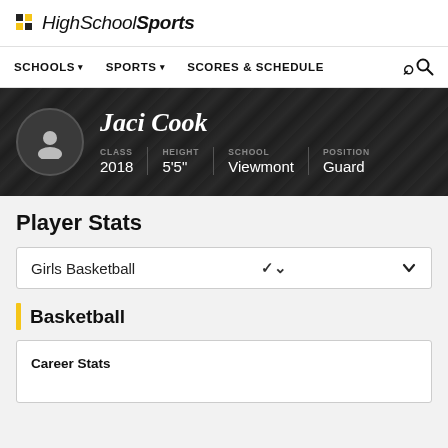HighSchoolSports
SCHOOLS ▾   SPORTS ▾   SCORES & SCHEDULE   🔍
[Figure (infographic): Player profile banner with avatar icon, name Jaci Cook, CLASS 2018, HEIGHT 5'5", SCHOOL Viewmont, POSITION Guard on dark textured background]
Player Stats
Girls Basketball
Basketball
Career Stats